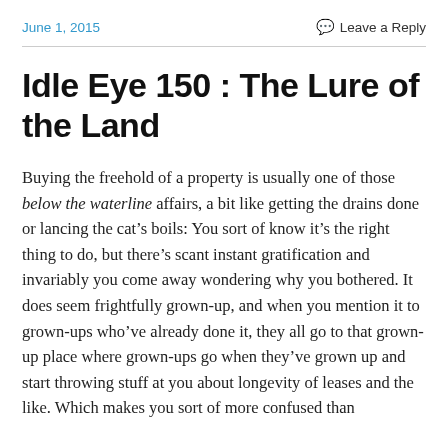June 1, 2015    Leave a Reply
Idle Eye 150 : The Lure of the Land
Buying the freehold of a property is usually one of those below the waterline affairs, a bit like getting the drains done or lancing the cat’s boils: You sort of know it’s the right thing to do, but there’s scant instant gratification and invariably you come away wondering why you bothered. It does seem frightfully grown-up, and when you mention it to grown-ups who’ve already done it, they all go to that grown-up place where grown-ups go when they’ve grown up and start throwing stuff at you about longevity of leases and the like. Which makes you sort of more confused than